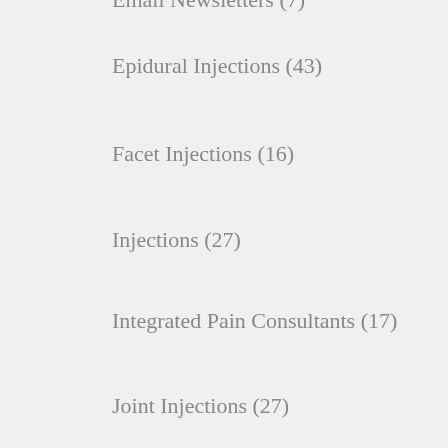Email Newsletters (7)
Epidural Injections (43)
Facet Injections (16)
Injections (27)
Integrated Pain Consultants (17)
Joint Injections (27)
Joint Pain (67)
Ketamine Infusions (11)
Kyphoplasty (19)
Manipulation Under Anesthesia (MUA) (11)
Medial Branch Blocks (21)